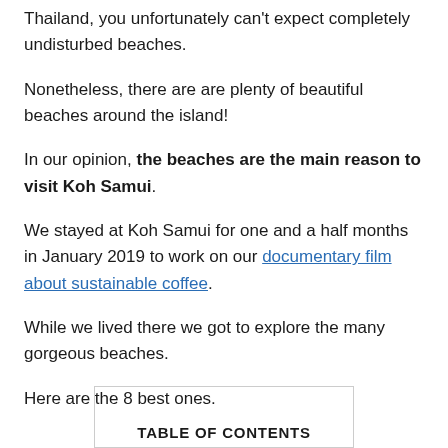Thailand, you unfortunately can't expect completely undisturbed beaches.
Nonetheless, there are are plenty of beautiful beaches around the island!
In our opinion, the beaches are the main reason to visit Koh Samui.
We stayed at Koh Samui for one and a half months in January 2019 to work on our documentary film about sustainable coffee.
While we lived there we got to explore the many gorgeous beaches.
Here are the 8 best ones.
TABLE OF CONTENTS